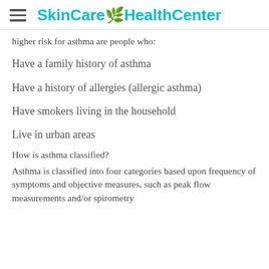SkinCare HealthCenter
higher risk for asthma are people who:
Have a family history of asthma
Have a history of allergies (allergic asthma)
Have smokers living in the household
Live in urban areas
How is asthma classified?
Asthma is classified into four categories based upon frequency of symptoms and objective measures, such as peak flow measurements and/or spirometry